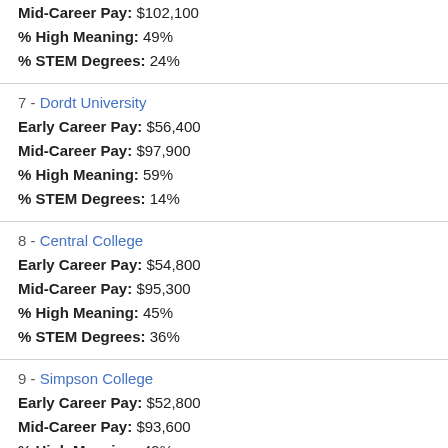Mid-Career Pay: $102,100
% High Meaning: 49%
% STEM Degrees: 24%
7 - Dordt University
Early Career Pay: $56,400
Mid-Career Pay: $97,900
% High Meaning: 59%
% STEM Degrees: 14%
8 - Central College
Early Career Pay: $54,800
Mid-Career Pay: $95,300
% High Meaning: 45%
% STEM Degrees: 36%
9 - Simpson College
Early Career Pay: $52,800
Mid-Career Pay: $93,600
% High Meaning: 49%
% STEM Degrees: 19%